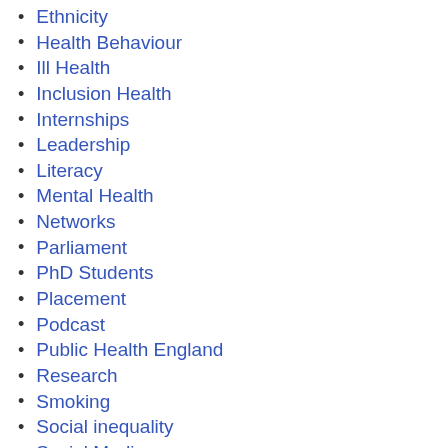Ethnicity
Health Behaviour
Ill Health
Inclusion Health
Internships
Leadership
Literacy
Mental Health
Networks
Parliament
PhD Students
Placement
Podcast
Public Health England
Research
Smoking
Social inequality
Social Media
Stress